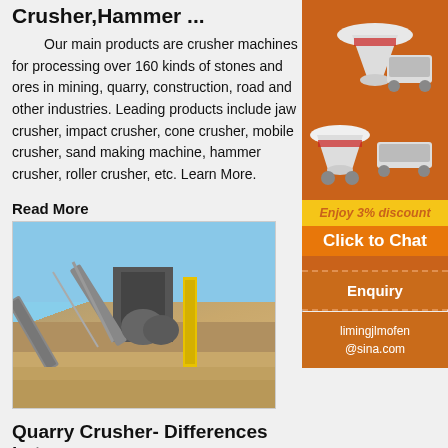Crusher,Hammer ...
Our main products are crusher machines for processing over 160 kinds of stones and ores in mining, quarry, construction, road and other industries. Leading products include jaw crusher, impact crusher, cone crusher, mobile crusher, sand making machine, hammer crusher, roller crusher, etc. Learn More.
Read More
[Figure (photo): Outdoor quarry crushing plant facility with conveyor belts, crushers, and industrial equipment under a clear blue sky]
Quarry Crusher- Differences between Kinds of
Impact Crusher: Compared with jaw crusher, Aimix's impact crusher machine is a finely crushing equipment. It has wide applications. Moreover, this
[Figure (photo): Advertisement banner with orange background showing multiple crusher machine models (cone crusher, mobile crusher) and text 'Enjoy 3% discount' and 'Click to Chat']
Enquiry
limingjlmofen@sina.com